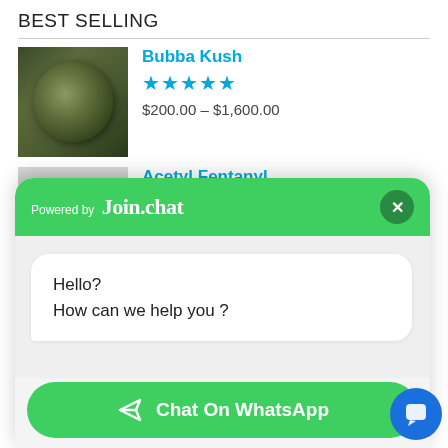BEST SELLING
Bubba Kush ★★★★★ $200.00 – $1,600.00
Acetyl Fentanyl ★★★★★ $300.00 – $2,000.00
[Figure (screenshot): Chat popup powered by Join.chat with message 'Hello? How can we help you?' and a green 'Chat On WhatsApp' button]
Powered by Join.chat
Hello?
How can we help you ?
Chat On WhatsApp